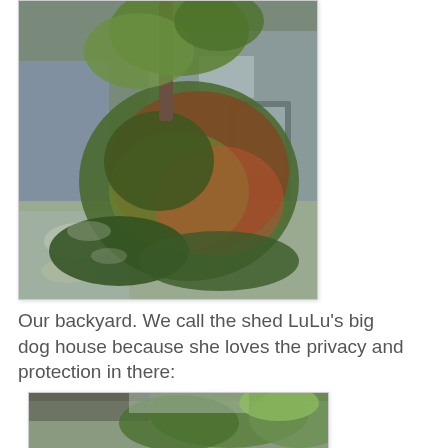[Figure (photo): Backyard garden photo showing lush green and red shrubs/plants with a tree in front of a gray shed/building with a door and window. A concrete path is visible to the left.]
Our backyard. We call the shed LuLu's big dog house because she loves the privacy and protection in there:
[Figure (photo): Partial view of a second backyard photo showing trees and outdoor area.]